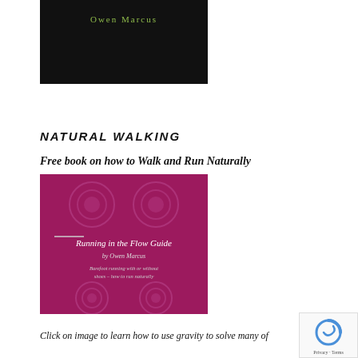[Figure (photo): Dark/black background book cover image with 'Owen Marcus' text in green/yellow at the top center]
NATURAL WALKING
Free book on how to Walk and Run Naturally
[Figure (photo): Magenta/purple book cover titled 'Running in the Flow Guide by Owen Marcus' with decorative floral pattern and subtitle about barefoot running]
Click on image to learn how to use gravity to solve many of
[Figure (logo): reCAPTCHA widget with Privacy - Terms text]